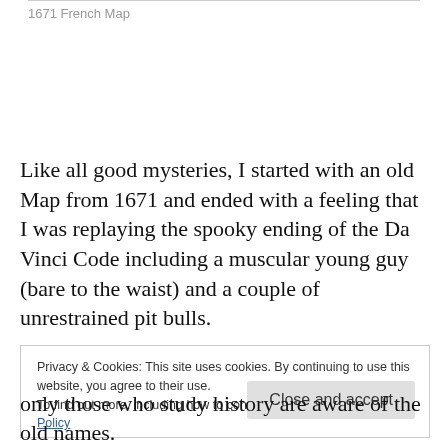1671 French Map
Like all good mysteries, I started with an old Map from 1671 and ended with a feeling that I was replaying the spooky ending of the Da Vinci Code including a muscular young guy (bare to the waist) and a couple of unrestrained pit bulls.
Privacy & Cookies: This site uses cookies. By continuing to use this website, you agree to their use.
To find out more, including how to control cookies, see here: Cookie Policy
Close and accept
only those who study history are aware of the old names.